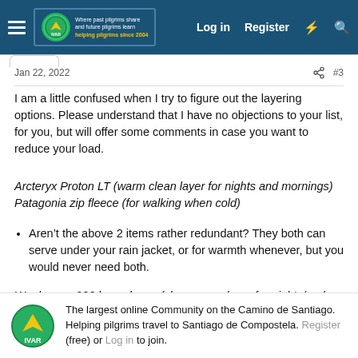Where past pilgrims share and future pilgrims learn helping pilgrims since 2004 | Log in | Register
Jan 22, 2022 | #3
I am a little confused when I try to figure out the layering options. Please understand that I have no objections to your list, for you, but will offer some comments in case you want to reduce your load.
Arcteryx Proton LT (warm clean layer for nights and mornings) Patagonia zip fleece (for walking when cold)
Aren’t the above 2 items rather redundant? They both can serve under your rain jacket, or for warmth whenever, but you would never need both.
Woolpower 200 long sleeve (clean warm layer for nights/and
The largest online Community on the Camino de Santiago. Helping pilgrims travel to Santiago de Compostela. Register (free) or Log in to join.